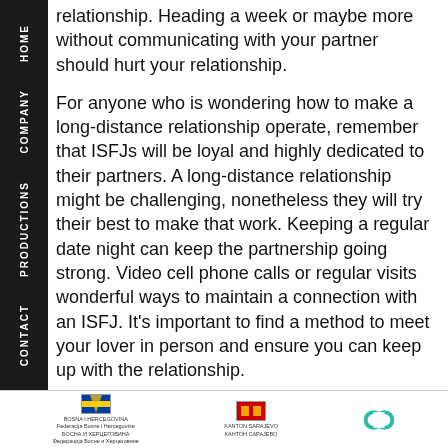HOME | COMPANY | PRODUCTIONS | CONTACT
relationship. Heading a week or maybe more without communicating with your partner should hurt your relationship.

For anyone who is wondering how to make a long-distance relationship operate, remember that ISFJs will be loyal and highly dedicated to their partners. A long-distance relationship might be challenging, nonetheless they will try their best to make that work. Keeping a regular date night can keep the partnership going strong. Video cell phone calls or regular visits wonderful ways to maintain a connection with an ISFJ. It's important to find a method to meet your lover in person and ensure you can keep up with the relationship.
BOSNA I HERCEGOVINA Federacija Bosne i Hercegovine BOSNA I HERCEGOVINA | KANTON SARAJEVO KANTON CAPAJEBO | [logo]